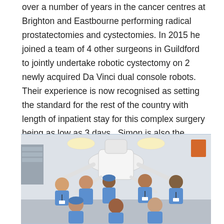over a number of years in the cancer centres at Brighton and Eastbourne performing radical prostatectomies and cystectomies. In 2015 he joined a team of 4 other surgeons in Guildford to jointly undertake robotic cystectomy on 2 newly acquired Da Vinci dual console robots. Their experience is now recognised as setting the standard for the rest of the country with length of inpatient stay for this complex surgery being as low as 3 days.  Simon is also the Clinical Director for Cancer Services for Western Sussex Hospitals Foundation Trust.
[Figure (photo): A group of approximately 9 medical professionals in blue surgical scrubs posing together in an operating theatre around a large white Da Vinci robotic surgery system. The team includes both men and women. The operating room has overhead surgical lights and medical equipment visible in the background.]